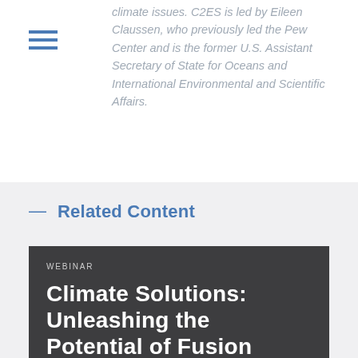climate issues. C2ES is led by Eileen Claussen, who previously led the Pew Center and is the former U.S. Assistant Secretary of State for Oceans and International Environmental and Scientific Affairs.
— Related Content
WEBINAR
Climate Solutions: Unleashing the Potential of Fusion